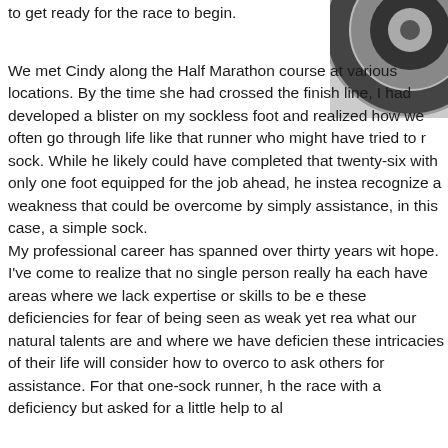to get ready for the race to begin.
[Figure (photo): Close-up photo of a shoe or wheel, partially visible in the upper right corner of the page]
We met Cindy along the Half Marathon course at various locations. By the time she had crossed the finish line, I had developed a blister on my sockless foot and realized how we often go through life like that runner who might have tried to run without a sock. While he likely could have completed that twenty-six miles with only one foot equipped for the job ahead, he instead chose to recognize a weakness that could be overcome by simply asking for assistance, in this case, a simple sock.
My professional career has spanned over thirty years with hope. I've come to realize that no single person really has it all; each have areas where we lack expertise or skills to be exact. We hide these deficiencies for fear of being seen as weak yet realizing what our natural talents are and where we have deficiencies these intricacies of their life will consider how to overcome and to ask others for assistance. For that one-sock runner, he entered the race with a deficiency but asked for a little help to allow